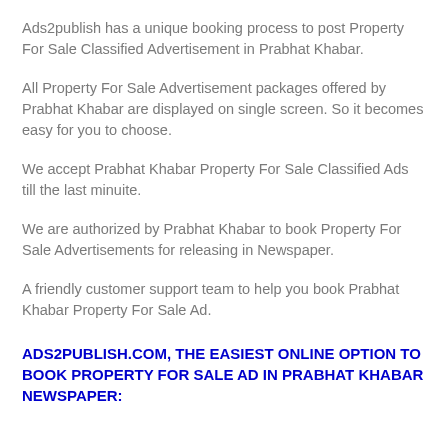Ads2publish has a unique booking process to post Property For Sale Classified Advertisement in Prabhat Khabar.
All Property For Sale Advertisement packages offered by Prabhat Khabar are displayed on single screen. So it becomes easy for you to choose.
We accept Prabhat Khabar Property For Sale Classified Ads till the last minuite.
We are authorized by Prabhat Khabar to book Property For Sale Advertisements for releasing in Newspaper.
A friendly customer support team to help you book Prabhat Khabar Property For Sale Ad.
ADS2PUBLISH.COM, THE EASIEST ONLINE OPTION TO BOOK PROPERTY FOR SALE AD IN PRABHAT KHABAR NEWSPAPER: